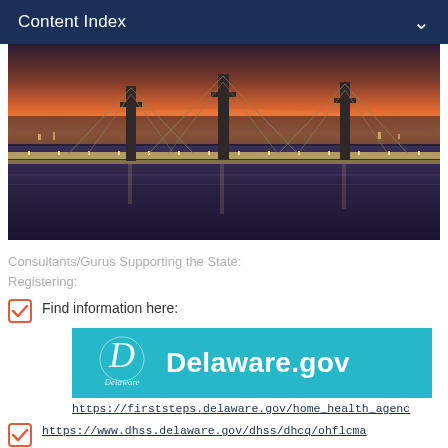Content Index
[Figure (photo): Aerial sunset photo of a large suspension bridge (Delaware Memorial Bridge) over water with city lights and orange sky]
Consultants/Gurus Supporting the State:
Registering:
Find information here:
[Figure (logo): Delaware.gov teal banner logo with stylized D and Delaware wordmark]
https://firststeps.delaware.gov/home_health_agenc
https://www.dhss.delaware.gov/dhss/dhcq/ohflcma